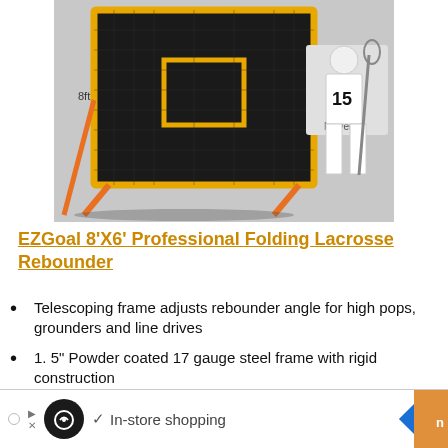[Figure (photo): EZGoal 8'X6' Professional Folding Lacrosse Rebounder product image showing a black net rebounder with orange/yellow frame and a lacrosse player wearing jersey number 15 standing next to it]
EZGoal 8'X6' Professional Folding Lacrosse Rebounder
Telescoping frame adjusts rebounder angle for high pops, grounders and line drives
1. 5" Powder coated 17 gauge steel frame with rigid construction
Precision fit connections for stability
Patented rock solid folding mechanism for storing flat
In-store shopping